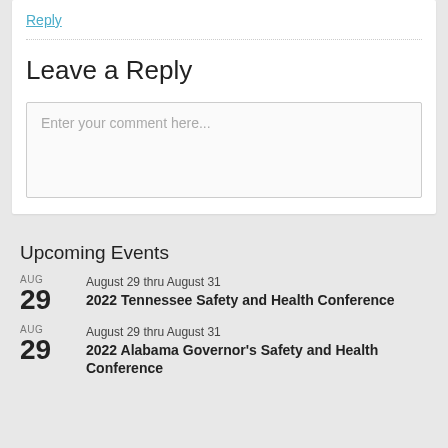Reply
Leave a Reply
Enter your comment here...
Upcoming Events
AUG 29 — August 29 thru August 31 — 2022 Tennessee Safety and Health Conference
AUG 29 — August 29 thru August 31 — 2022 Alabama Governor's Safety and Health Conference